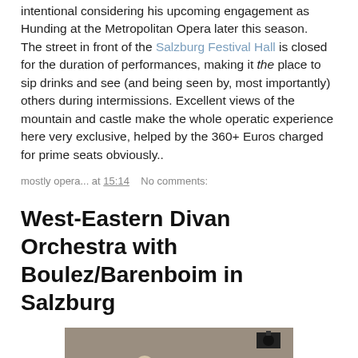intentional considering his upcoming engagement as Hunding at the Metropolitan Opera later this season.
The street in front of the Salzburg Festival Hall is closed for the duration of performances, making it the place to sip drinks and see (and being seen by, most importantly) others during intermissions. Excellent views of the mountain and castle make the whole operatic experience here very exclusive, helped by the 360+ Euros charged for prime seats obviously..
mostly opera... at 15:14    No comments:
West-Eastern Divan Orchestra with Boulez/Barenboim in Salzburg
[Figure (photo): Orchestra musicians on stage, several players visible with instruments, dark background]